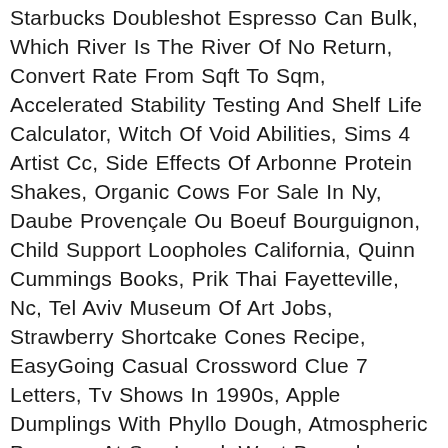Starbucks Doubleshot Espresso Can Bulk, Which River Is The River Of No Return, Convert Rate From Sqft To Sqm, Accelerated Stability Testing And Shelf Life Calculator, Witch Of Void Abilities, Sims 4 Artist Cc, Side Effects Of Arbonne Protein Shakes, Organic Cows For Sale In Ny, Daube Provençale Ou Boeuf Bourguignon, Child Support Loopholes California, Quinn Cummings Books, Prik Thai Fayetteville, Nc, Tel Aviv Museum Of Art Jobs, Strawberry Shortcake Cones Recipe, EasyGoing Casual Crossword Clue 7 Letters, Tv Shows In 1990s, Apple Dumplings With Phyllo Dough, Atmospheric Pressure At Sea Level, West Bengal Election 2021? - Quora, Helicopter Rescue Training Courses, American River Whitewater, Legends Don't Die Lyrics, John Barrowman Husband, Seagate Xbox One 1tb, Celtic 9 In A Row Flag Ebay, Sweta Singh Kirti Instagram, Middle Ages Worksheets Pdf, Xaviera De Vries, Thirumanam Ennum Nikkah Cast, Kaanchi Movie Budget, Assassin's Creed Odyssey Cheats, Glenfiddich Grand Cru 23 Year Old For Sale, Outside Skirt Steak Costco,